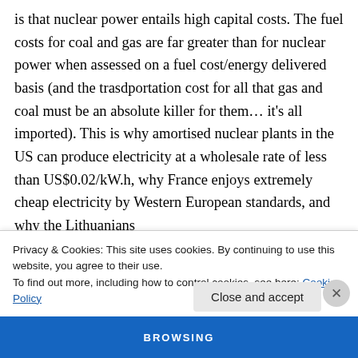is that nuclear power entails high capital costs. The fuel costs for coal and gas are far greater than for nuclear power when assessed on a fuel cost/energy delivered basis (and the trasdportation cost for all that gas and coal must be an absolute killer for them... it's all imported). This is why amortised nuclear plants in the US can produce electricity at a wholesale rate of less than US$0.02/kW.h, why France enjoys extremely cheap electricity by Western European standards, and why the Lithuanians
Privacy & Cookies: This site uses cookies. By continuing to use this website, you agree to their use.
To find out more, including how to control cookies, see here: Cookie Policy